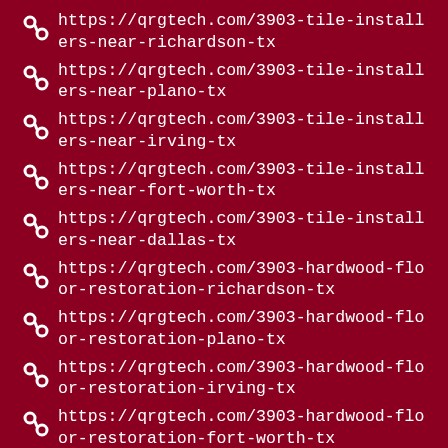https://qrgtech.com/3903-tile-installers-near-richardson-tx
https://qrgtech.com/3903-tile-installers-near-plano-tx
https://qrgtech.com/3903-tile-installers-near-irving-tx
https://qrgtech.com/3903-tile-installers-near-fort-worth-tx
https://qrgtech.com/3903-tile-installers-near-dallas-tx
https://qrgtech.com/3903-hardwood-floor-restoration-richardson-tx
https://qrgtech.com/3903-hardwood-floor-restoration-plano-tx
https://qrgtech.com/3903-hardwood-floor-restoration-irving-tx
https://qrgtech.com/3903-hardwood-floor-restoration-fort-worth-tx
https://qrgtech.com/3903-hardwood-floor-